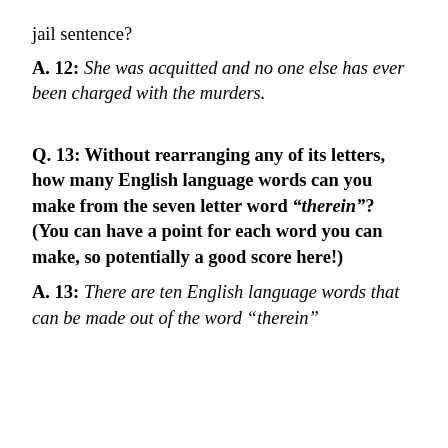jail sentence?
A.  12: She was acquitted and no one else has ever been charged with the murders.
Q.  13: Without rearranging any of its letters, how many English language words can you make from the seven letter word “therein”? (You can have a point for each word you can make, so potentially a good score here!)
A.  13: There are ten English language words that can be made out of the word “therein”